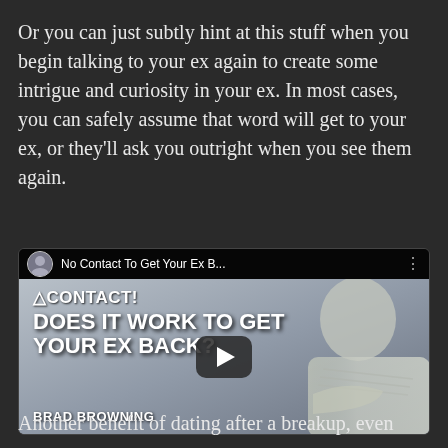Or you can just subtly hint at this stuff when you begin talking to your ex again to create some intrigue and curiosity in your ex. In most cases, you can safely assume that word will get to your ex, or they'll ask you outright when you see them again.
[Figure (screenshot): YouTube video thumbnail showing a man with crossed arms, titled 'No Contact To Get Your Ex B...' with overlay text 'CONTACT! DOES IT WORK TO GET YOUR EX BACK?' and presenter name 'BRAD BROWNING']
Another benefit of dating after a breakup, even